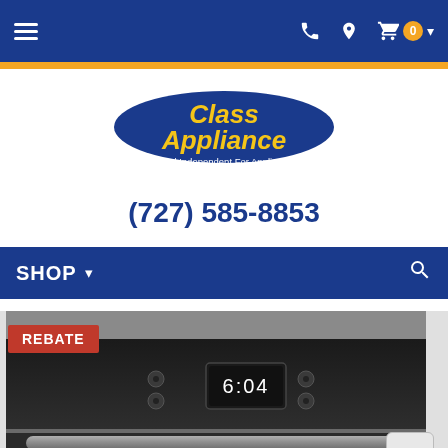[Figure (screenshot): Top navigation bar with hamburger menu on left, phone/location/cart icons on right, on dark blue background]
[Figure (logo): Class Appliance logo — oval blue badge with yellow italic bold text 'Class Appliance' and white subtitle 'Your Local Independent For Appliances, Parts & Service']
(727) 585-8853
[Figure (screenshot): SHOP navigation bar with dropdown arrow and search icon on dark blue background]
[Figure (photo): Wall oven appliance close-up showing control panel with digital clock display reading 6:04, stainless steel finish. Red REBATE badge overlay in top-left corner.]